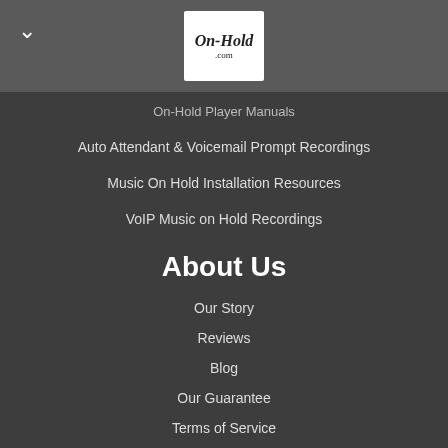[Figure (logo): On-Hold.com logo in white box]
On-Hold Player Manuals
Auto Attendant & Voicemail Prompt Recordings
Music On Hold Installation Resources
VoIP Music on Hold Recordings
About Us
Our Story
Reviews
Blog
Our Guarantee
Terms of Service
Careers
Partner
Contact